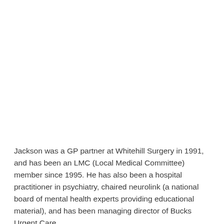Jackson was a GP partner at Whitehill Surgery in 1991, and has been an LMC (Local Medical Committee) member since 1995. He has also been a hospital practitioner in psychiatry, chaired neurolink (a national board of mental health experts providing educational material), and has been managing director of Bucks Urgent Care.